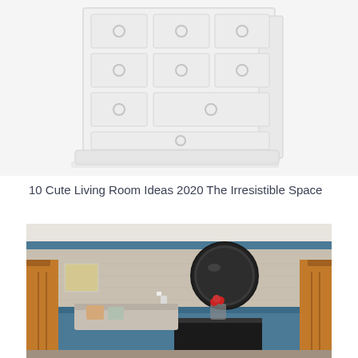[Figure (photo): White wooden chest of drawers / dresser with ring pulls, photographed from a slight angle on white background, partially cropped at top]
10 Cute Living Room Ideas 2020 The Irresistible Space
[Figure (photo): Interior living/dining room with blue wainscoting walls, beige textured upper walls, brown leather chairs visible on left and right edges, large round dark-framed mirror, black console table with red roses in vase, white pillar candle holders, couch with pillows in background]